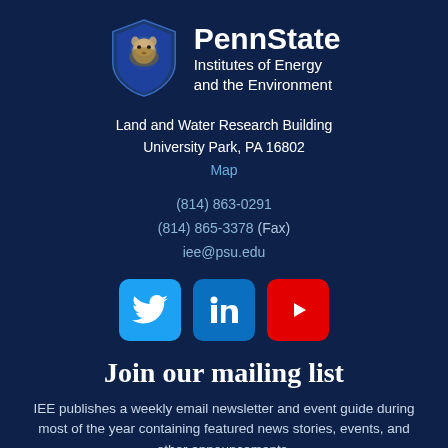[Figure (logo): Penn State Institutes of Energy and the Environment logo with lion shield]
Land and Water Research Building
University Park, PA 16802
Map
(814) 863-0291
(814) 865-3378 (Fax)
iee@psu.edu
[Figure (other): Social media icons: Twitter, LinkedIn, YouTube]
Join our mailing list
IEE publishes a weekly email newsletter and event guide during most of the year containing featured news stories, events, and other announcements.